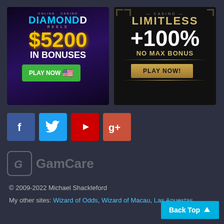[Figure (illustration): Diamond Reels casino ad banner: purple/dark background, logo at top, '$5200 IN BONUSES' in gold and white text, 'PLAY NOW' green button with US flag emoji]
[Figure (illustration): Limitless Casino ad banner: dark/black background with gold art-deco accents, '+100% NO MAX BONUS' text, 'PLAY NOW!' gold button]
[Figure (illustration): Social media icon buttons row: Facebook (blue), Twitter (blue), YouTube (red), Google+ (orange-red)]
[Figure (logo): GamCare logo: stylized G in rounded square bracket icon with 'GamCare' text, muted/faded appearance]
© 2009-2022 Michael Shackleford
My other sites: Wizard of Odds, Wizard of Macau, Las Apuestas
Back Top ↑